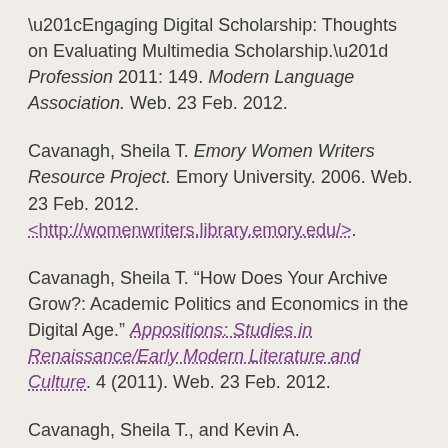“Engaging Digital Scholarship: Thoughts on Evaluating Multimedia Scholarship.” Profession 2011: 149. Modern Language Association. Web. 23 Feb. 2012.
Cavanagh, Sheila T. Emory Women Writers Resource Project. Emory University. 2006. Web. 23 Feb. 2012. <http://womenwriters.library.emory.edu/>.
Cavanagh, Sheila T. “How Does Your Archive Grow?: Academic Politics and Economics in the Digital Age.” Appositions: Studies in Renaissance/Early Modern Literature and Culture. 4 (2011). Web. 23 Feb. 2012.
Cavanagh, Sheila T., and Kevin A.